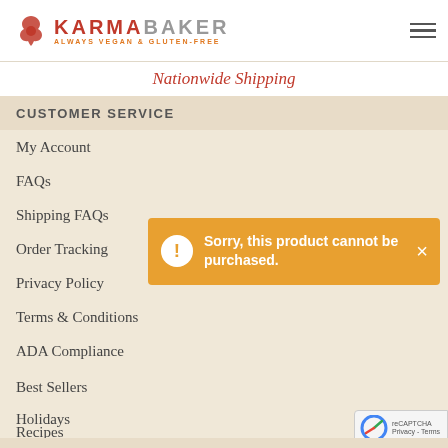KARMA BAKER — ALWAYS VEGAN & GLUTEN-FREE
Nationwide Shipping
CUSTOMER SERVICE
My Account
FAQs
Shipping FAQs
Order Tracking
Privacy Policy
Terms & Conditions
ADA Compliance
[Figure (infographic): Orange notification toast with exclamation icon reading: Sorry, this product cannot be purchased. with an X close button.]
Best Sellers
Holidays
Recipes